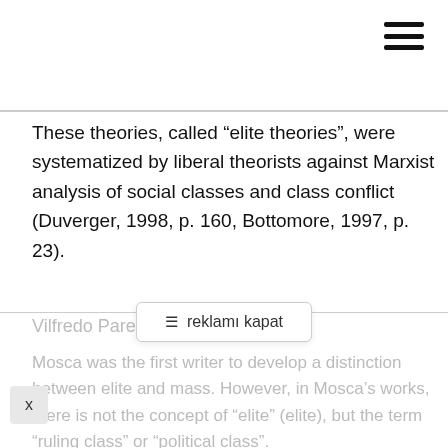[Figure (other): Hamburger menu icon (three horizontal lines) in top right corner]
These theories, called “elite theories”, were systematized by liberal theorists against Marxist analysis of social classes and class conflict (Duverger, 1998, p. 160, Bottomore, 1997, p. 23).
Vilfredo Pareto
[Figure (other): Ad banner overlay with hamburger icon and text 'reklamı kapat']
Mosca was the first writer to develop a distinction between elite and mass. However, in Mosca’s works, there is not the concept of “elite” (elite), but the term “ruling class” or “political class”. Mosca states that the social structure consists of two separate poles: the “ruling class/political class” and the “ruled class”. Mosca also states that this is a universal reality. Because, according to him, this situation is valid for every society and political regime.